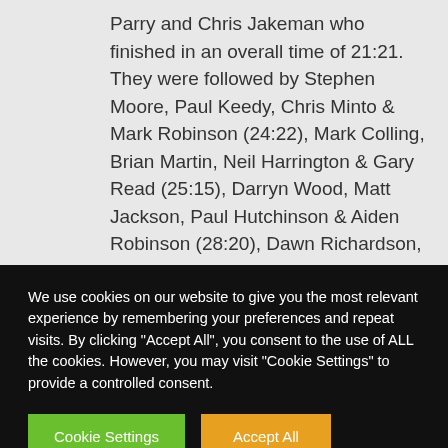Parry and Chris Jakeman who finished in an overall time of 21:21. They were followed by Stephen Moore, Paul Keedy, Chris Minto & Mark Robinson (24:22), Mark Colling, Brian Martin, Neil Harrington & Gary Read (25:15), Darryn Wood, Matt Jackson, Paul Hutchinson & Aiden Robinson (28:20), Dawn Richardson, Julie Whinn, Wendy Colling & Julie Jefferies (28:36), Sandra Martin, Emily Mann, Joanne Todd & Gill Colling (32:13),
We use cookies on our website to give you the most relevant experience by remembering your preferences and repeat visits. By clicking "Accept All", you consent to the use of ALL the cookies. However, you may visit "Cookie Settings" to provide a controlled consent.